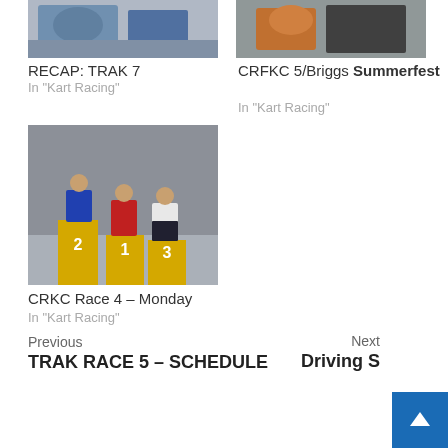[Figure (photo): Photo of a kart racer in blue/white kart]
RECAP: TRAK 7
In "Kart Racing"
[Figure (photo): Photo of a kart racer in orange/black gear]
CRFKC 5/Briggs Summerfest
In "Kart Racing"
[Figure (photo): Photo of three people on a winners podium with positions 1, 2, 3]
CRKC Race 4 – Monday
In "Kart Racing"
Previous
TRAK RACE 5 – SCHEDULE
Next
Driving S